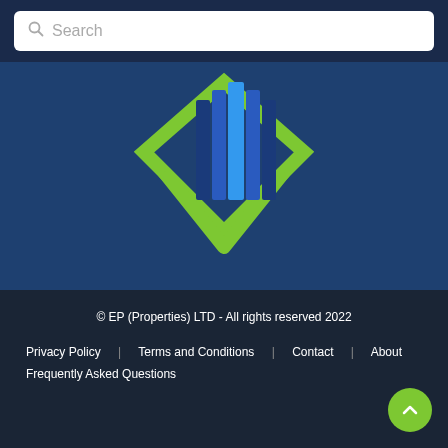[Figure (screenshot): Search bar with magnifying glass icon and placeholder text 'Search' on dark navy background]
[Figure (logo): EP Properties LTD logo: green diamond chevron shape with blue vertical bars/buildings inside, on dark blue background]
© EP (Properties) LTD - All rights reserved 2022
Privacy Policy
Terms and Conditions
Contact
About
Frequently Asked Questions